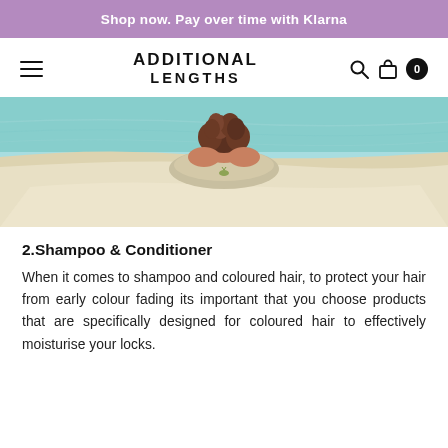Shop now. Pay over time with Klarna
[Figure (logo): Additional Lengths logo with hamburger menu, search icon, bag icon, and cart count badge]
[Figure (photo): Woman with curly hair lying on a sandy beach facing the ocean, viewed from behind]
2.Shampoo & Conditioner
When it comes to shampoo and coloured hair, to protect your hair from early colour fading its important that you choose products that are specifically designed for coloured hair to effectively moisturise your locks.